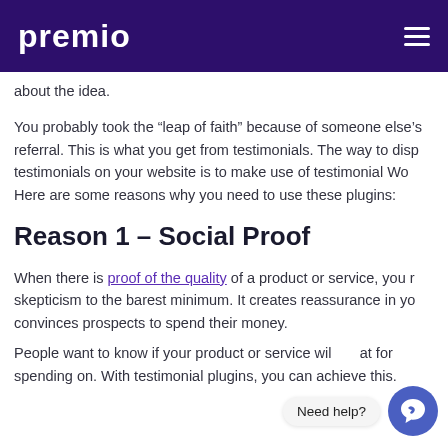premio
about the idea.
You probably took the “leap of faith” because of someone else’s referral. This is what you get from testimonials. The way to display testimonials on your website is to make use of testimonial Wo... Here are some reasons why you need to use these plugins:
Reason 1 – Social Proof
When there is proof of the quality of a product or service, you reduce skepticism to the barest minimum. It creates reassurance in yo... convinces prospects to spend their money.
People want to know if your product or service will be worth spending on. With testimonial plugins, you can achieve this.